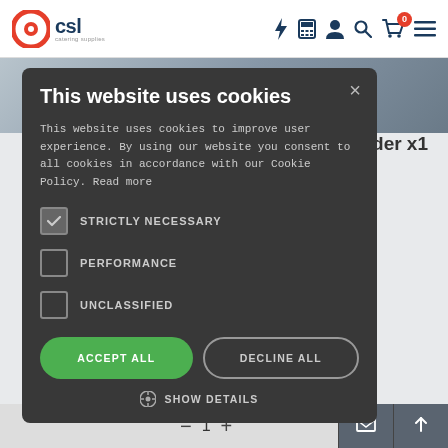[Figure (screenshot): CSL Catering Supplies website header with logo, navigation icons (lightning bolt, calculator, user, search, cart with 0 badge, hamburger menu)]
[Figure (screenshot): Background page content showing product text 'xtender x1' and bottom quantity controls]
This website uses cookies
This website uses cookies to improve user experience. By using our website you consent to all cookies in accordance with our Cookie Policy. Read more
STRICTLY NECESSARY (checked)
PERFORMANCE (unchecked)
UNCLASSIFIED (unchecked)
ACCEPT ALL | DECLINE ALL
SHOW DETAILS